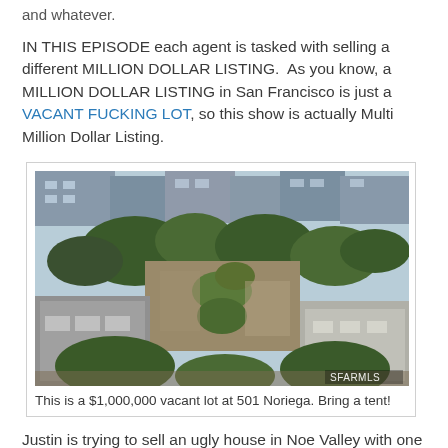and whatever.
IN THIS EPISODE each agent is tasked with selling a different MILLION DOLLAR LISTING. As you know, a MILLION DOLLAR LISTING in San Francisco is just a VACANT FUCKING LOT, so this show is actually Multi Million Dollar Listing.
[Figure (photo): Aerial view of a vacant lot at 501 Noriega, San Francisco, surrounded by buildings and trees. Watermark reads SFARMLS.]
This is a $1,000,000 vacant lot at 501 Noriega. Bring a tent!
Justin is trying to sell an ugly house in Noe Valley with one of those complete interior gut jobs where everything is now grey and flat. The "business manager" for the people who